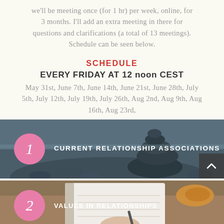we'll be meeting once (for 1 hr) per week, online, for 3 months. I'll add an extra meeting in there for questions and clarifications (a total of 13 meetings). Schedule can be seen below.
SCHEDULE
EVERY FRIDAY AT 12 noon CEST
May 31st, June 7th, June 14th, June 21st, June 28th, July 5th, July 12th, July 19th, July 26th, Aug 2nd, Aug 9th, Aug 16th, Aug 23rd,
[Figure (photo): Dark banner with stacked stones/rocks background, pink circle with number 1 italic, white bold text 'CURRENT RELATIONSHIP ASSOCIATIONS', dark scroll-up button bottom right]
[Figure (photo): Banner with notebook, croissant on wooden table background, pink circle with number 2 italic, white bold text 'VALUES IN RELATIONSHIPS']